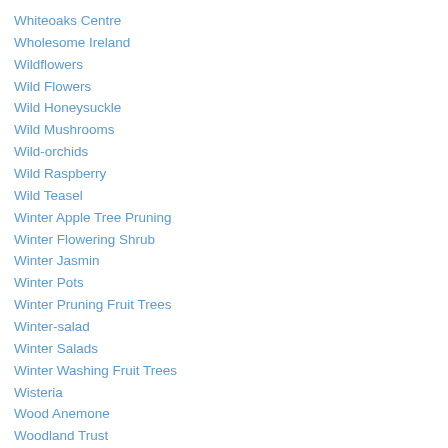Whiteoaks Centre
Wholesome Ireland
Wildflowers
Wild Flowers
Wild Honeysuckle
Wild Mushrooms
Wild-orchids
Wild Raspberry
Wild Teasel
Winter Apple Tree Pruning
Winter Flowering Shrub
Winter Jasmin
Winter Pots
Winter Pruning Fruit Trees
Winter-salad
Winter Salads
Winter Washing Fruit Trees
Wisteria
Wood Anemone
Woodland Trust